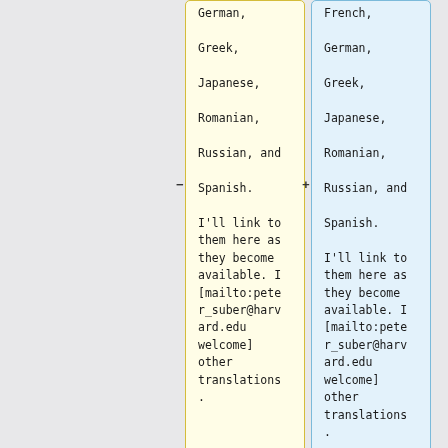German,
Greek,
Japanese,
Romanian,
Russian, and
Spanish.
I'll link to
them here as
they become
available. I
[mailto:peter_suber@harvard.edu welcome] other translations.
French,
German,
Greek,
Japanese,
Romanian,
Russian, and
Spanish.
I'll link to
them here as
they become
available. I
[mailto:peter_suber@harvard.edu welcome] other translations.
<!-- formerly:
Serbian,
<!-- formerly:
Serbian,